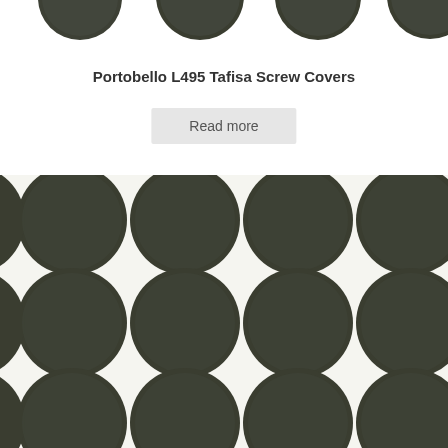[Figure (photo): Partial view of dark olive/charcoal circular screw cover caps arranged in a grid pattern on white background - top row partially cropped]
Portobello L495 Tafisa Screw Covers
Read more
[Figure (photo): Grid of dark olive/charcoal circular screw cover caps (5 columns x 5+ rows) on white/cream background, showing the Portobello L495 Tafisa screw covers product]